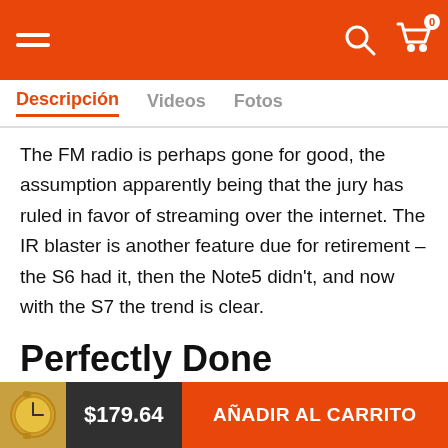Navigation bar with hamburger menu, search icon, and cart icon with badge 0
Descripción  Videos  Fotos
The FM radio is perhaps gone for good, the assumption apparently being that the jury has ruled in favor of streaming over the internet. The IR blaster is another feature due for retirement – the S6 had it, then the Note5 didn't, and now with the S7 the trend is clear.
Perfectly Done
Praesent ornare, ex a interdum consectetur, lectus diam sodales elit, vitae egestas est enlm ornare lectus
$179.64  AÑADIR AL CARRITO